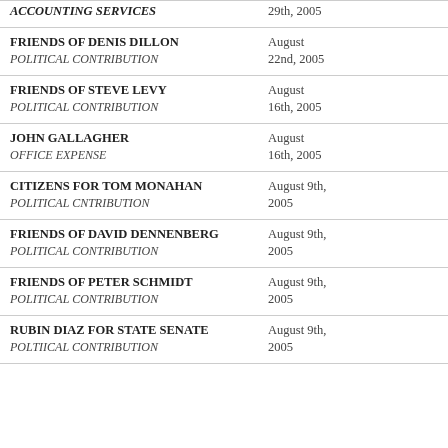| Payee / Type | Date | Amount |
| --- | --- | --- |
| ACCOUNTING SERVICES / ACCOUNTING SERVICES | 29th, 2005 |  |
| FRIENDS OF DENIS DILLON / POLITICAL CONTRIBUTION | August 22nd, 2005 | $500 |
| FRIENDS OF STEVE LEVY / POLITICAL CONTRIBUTION | August 16th, 2005 | $500 |
| JOHN GALLAGHER / OFFICE EXPENSE | August 16th, 2005 | $143 |
| CITIZENS FOR TOM MONAHAN / POLITICAL CNTRIBUTION | August 9th, 2005 | $1,200 |
| FRIENDS OF DAVID DENNENBERG / POLITICAL CONTRIBUTION | August 9th, 2005 | $400 |
| FRIENDS OF PETER SCHMIDT / POLITICAL CONTRIBUTION | August 9th, 2005 | $500 |
| RUBIN DIAZ FOR STATE SENATE / POLTIICAL CONTRIBUTION | August 9th, 2005 |  |